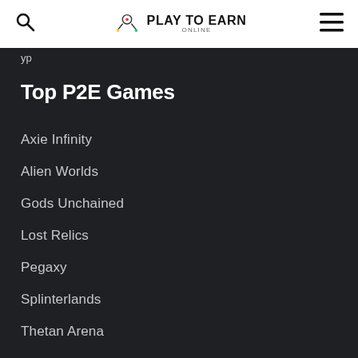Play To Earn Online
Top P2E Games
Axie Infinity
Alien Worlds
Gods Unchained
Lost Relics
Pegaxy
Splinterlands
Thetan Arena